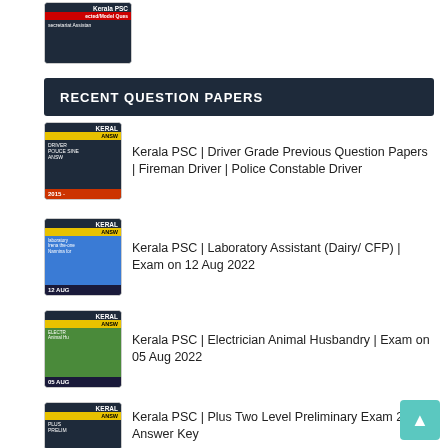[Figure (photo): Kerala PSC thumbnail image at top - secretariat assistant related, dark background with red and white text]
RECENT QUESTION PAPERS
Kerala PSC | Driver Grade Previous Question Papers | Fireman Driver | Police Constable Driver
Kerala PSC | Laboratory Assistant (Dairy/ CFP) | Exam on 12 Aug 2022
Kerala PSC | Electrician Animal Husbandry | Exam on 05 Aug 2022
Kerala PSC | Plus Two Level Preliminary Exam 2022 | Answer Key